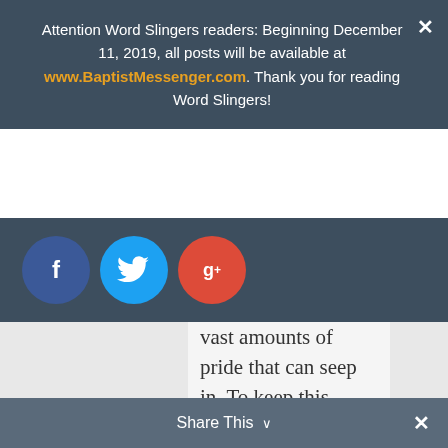Attention Word Slingers readers: Beginning December 11, 2019, all posts will be available at www.BaptistMessenger.com. Thank you for reading Word Slingers!
[Figure (infographic): Social sharing buttons: Facebook (blue circle), Twitter (light blue circle), Google+ (red circle)]
vast amounts of pride that can seep in. To keep this balance maintained, there is only one solution that has worked for me: prayer. Specifically, prayer for my future husband.
I don't bank on the day that my tardy Prince Charming, atop his noble tortoise, will arrive, but I
Share This ∨